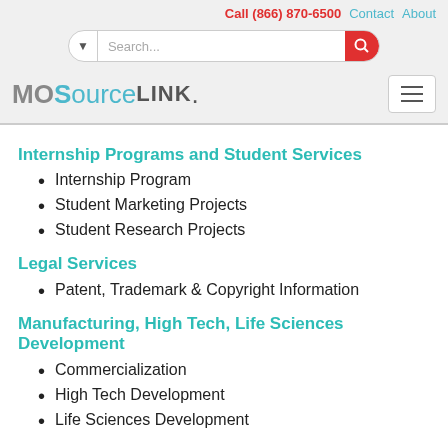Call (866) 870-6500  Contact  About
[Figure (logo): MOSourceLINK logo with search bar and hamburger menu]
Internship Programs and Student Services
Internship Program
Student Marketing Projects
Student Research Projects
Legal Services
Patent, Trademark & Copyright Information
Manufacturing, High Tech, Life Sciences Development
Commercialization
High Tech Development
Life Sciences Development